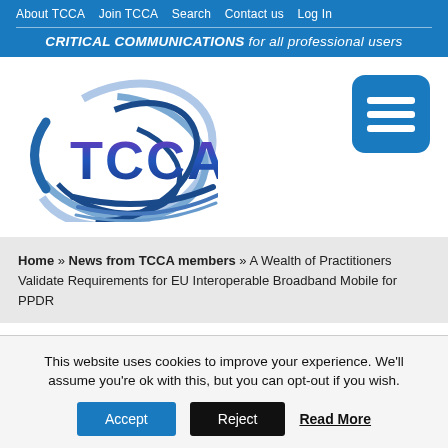About TCCA  Join TCCA  Search  Contact us  Log In
CRITICAL COMMUNICATIONS for all professional users
[Figure (logo): TCCA logo with blue swirl graphic and purple/blue TCCA text]
[Figure (other): Hamburger menu button (three horizontal white lines on blue rounded square)]
Home » News from TCCA members » A Wealth of Practitioners Validate Requirements for EU Interoperable Broadband Mobile for PPDR
This website uses cookies to improve your experience. We'll assume you're ok with this, but you can opt-out if you wish.